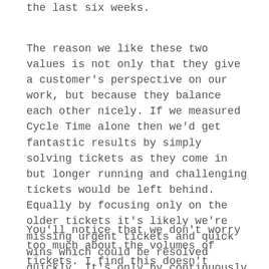the last six weeks.
The reason we like these two values is not only that they give a customer's perspective on our work, but because they balance each other nicely. If we measured Cycle Time alone then we'd get fantastic results by simply solving tickets as they come in but longer running and challenging tickets would be left behind. Equally by focusing only on the older tickets it's likely we're missing urgent tickets and quick wins which could be resolved quickly. It's only by continuously improving both values do we provide a good service.
You'll notice that we don't worry too much about the volumes of tickets. I find this doesn't actually